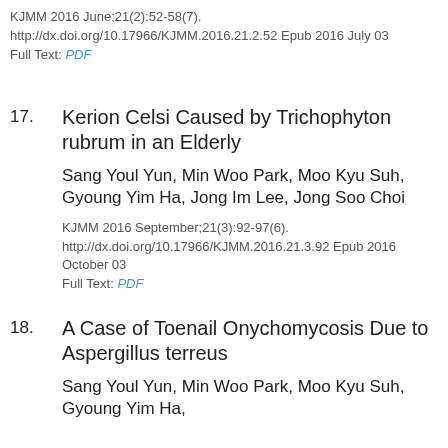KJMM 2016 June;21(2):52-58(7).
http://dx.doi.org/10.17966/KJMM.2016.21.2.52 Epub 2016 July 03
Full Text: PDF
17. Kerion Celsi Caused by Trichophyton rubrum in an Elderly
Sang Youl Yun, Min Woo Park, Moo Kyu Suh, Gyoung Yim Ha, Jong Im Lee, Jong Soo Choi
KJMM 2016 September;21(3):92-97(6).
http://dx.doi.org/10.17966/KJMM.2016.21.3.92 Epub 2016 October 03
Full Text: PDF
18. A Case of Toenail Onychomycosis Due to Aspergillus terreus
Sang Youl Yun, Min Woo Park, Moo Kyu Suh, Gyoung Yim Ha,